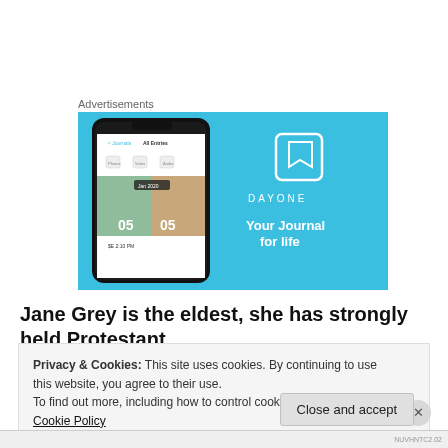Advertisements
[Figure (screenshot): DayOne app advertisement banner with a phone mockup showing the app interface on a blue background. Right side shows DayOne logo icon, 'DAYONE' text, and tagline 'Your Journal for life'.]
Jane Grey is the eldest, she has strongly held Protestant
Privacy & Cookies: This site uses cookies. By continuing to use this website, you agree to their use.
To find out more, including how to control cookies, see here: Cookie Policy
Close and accept